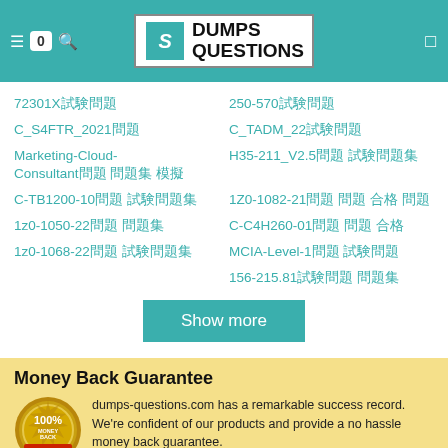DUMPS QUESTIONS
72301X試験問題
250-570試験問題
C_S4FTR_2021問題
C_TADM_22試験問題
Marketing-Cloud-Consultant問題 問題集 模擬
H35-211_V2.5問題 試験問題
C-TB1200-10問題 試験問題集
1Z0-1082-21問題 問題 合格 問題
1z0-1050-22問題 問題集
C-C4H260-01問題 問題 合格
1z0-1068-22問題 試験問題集
MCIA-Level-1問題 試験問題
156-215.81試験問題 問題集
Show more
Money Back Guarantee
dumps-questions.com has a remarkable success record. We're confident of our products and provide a no hassle money back guarantee.
How the guarantee works?